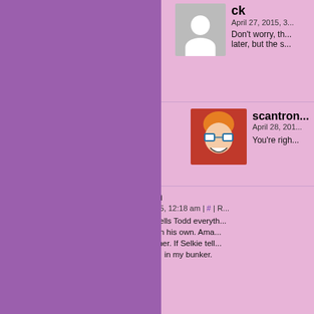ck
April 27, 2015, 3...
Don't worry, th... later, but the s...
scantron
April 28, 201...
You're righ...
Tarnagh
April 27, 2015, 12:18 am | # | R...
And Selkie tells Todd everyth... the pieces on his own. Ama... back to get her. If Selkie tell... down here… in my bunker.
ai_vin
April 27, 2015, 1...
I'll wait up here...
Tarnagh
April 27, 201...
Don't both... job done i...